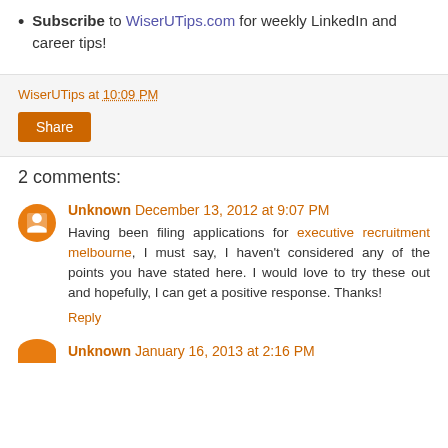Subscribe to WiserUTips.com for weekly LinkedIn and career tips!
WiserUTips at 10:09 PM
Share
2 comments:
Unknown December 13, 2012 at 9:07 PM
Having been filing applications for executive recruitment melbourne, I must say, I haven't considered any of the points you have stated here. I would love to try these out and hopefully, I can get a positive response. Thanks!
Reply
Unknown January 16, 2013 at 2:16 PM